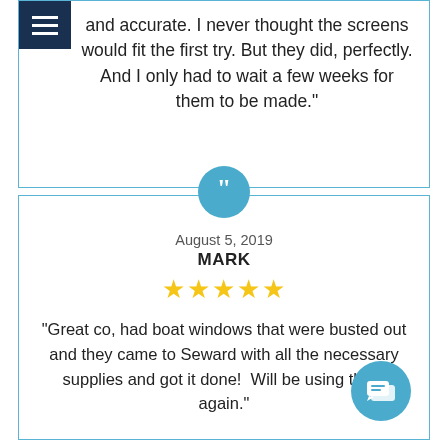and accurate. I never thought the screens would fit the first try. But they did, perfectly. And I only had to wait a few weeks for them to be made."
[Figure (illustration): Blue circle with white quotation marks icon]
August 5, 2019
MARK
★★★★★
"Great co, had boat windows that were busted out and they came to Seward with all the necessary supplies and got it done! Will be using them again."
[Figure (illustration): Blue circle with chat/message bubbles icon]